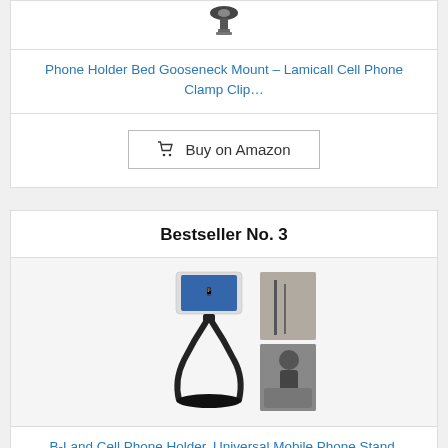[Figure (photo): Small product image of a phone mount/clamp device shown from above]
Phone Holder Bed Gooseneck Mount – Lamicall Cell Phone Clamp Clip…
Buy on Amazon
Bestseller No. 3
[Figure (photo): Two product photos of B-Land flexible gooseneck phone holder: one showing the product solo with a snake-neck arm holding a phone, another showing it mounted in a car/vehicle setting]
B-Land Cell Phone Holder, Universal Mobile Phone Stand, Lazy…